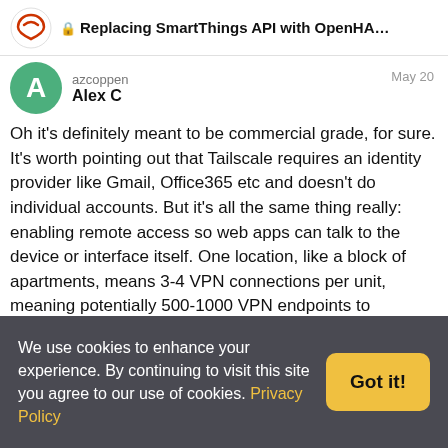Replacing SmartThings API with OpenHAB + ...
azcoppen
Alex C
May 20
Oh it's definitely meant to be commercial grade, for sure. It's worth pointing out that Tailscale requires an identity provider like Gmail, Office365 etc and doesn't do individual accounts. But it's all the same thing really: enabling remote access so web apps can talk to the device or interface itself. One location, like a block of apartments, means 3-4 VPN connections per unit, meaning potentially 500-1000 VPN endpoints to manage.
That inhibits its scalability in a big way. Personally i have a huge problem with these big tech companies and the data they process, so i'd like to avoid them if possible.
Couple of other things:
We use cookies to enhance your experience. By continuing to visit this site you agree to our use of cookies. Privacy Policy
Got it!